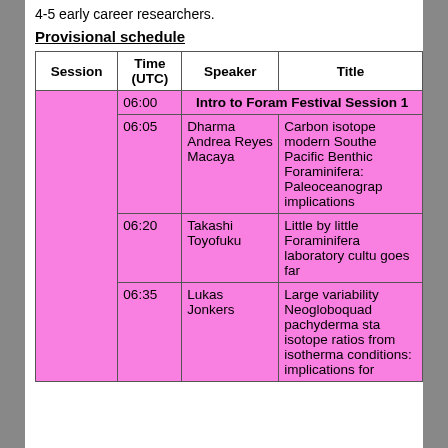4-5 early career researchers.
Provisional schedule
| Session | Time (UTC) | Speaker | Title |
| --- | --- | --- | --- |
|  | 06:00 |  | Intro to Foram Festival Session 1 |
|  | 06:05 | Dharma Andrea Reyes Macaya | Carbon isotope modern Southern Pacific Benthic Foraminifera: Paleoceanographic implications |
|  | 06:20 | Takashi Toyofuku | Little by little Foraminifera laboratory culture goes far |
|  | 06:35 | Lukas Jonkers | Large variability Neogloboquadrina pachyderma stable isotope ratios from isothermal conditions: implications for... |